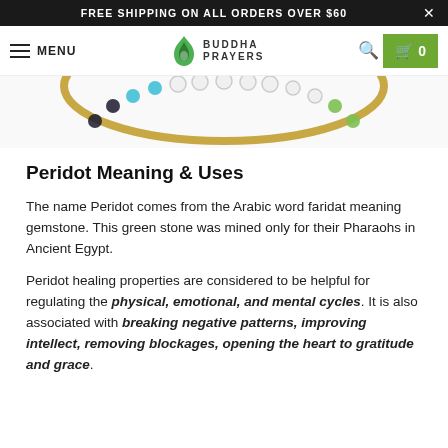FREE SHIPPING ON ALL ORDERS OVER $60
[Figure (screenshot): Navigation bar with hamburger menu, BUDDHA PRAYERS logo with flame icon, search icon, and green cart button showing 0 items]
[Figure (photo): Partial top view of a decorative bracelet with colorful beads, crystals, and gold accents on a white background]
Peridot Meaning & Uses
The name Peridot comes from the Arabic word faridat meaning gemstone. This green stone was mined only for their Pharaohs in Ancient Egypt.
Peridot healing properties are considered to be helpful for regulating the physical, emotional, and mental cycles. It is also associated with breaking negative patterns, improving intellect, removing blockages, opening the heart to gratitude and grace.